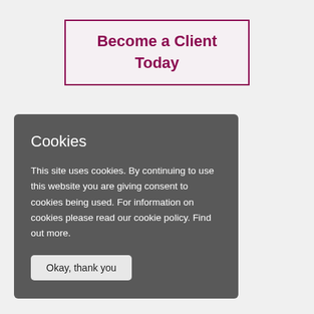Become a Client Today
Cookies
This site uses cookies. By continuing to use this website you are giving consent to cookies being used. For information on cookies please read our cookie policy. Find out more.
Okay, thank you